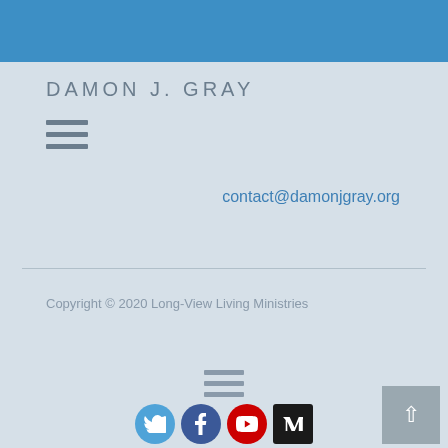DAMON J. GRAY
[Figure (other): Hamburger menu icon (three horizontal lines) in the header navigation area]
contact@damonjgray.org
Copyright © 2020 Long-View Living Ministries
[Figure (other): Hamburger menu icon (three horizontal lines) in the footer navigation area]
[Figure (other): Social media icons: Twitter (blue bird), Facebook (blue circle), YouTube (red circle), Medium (black square)]
[Figure (other): Back to top button with upward arrow, grey background, bottom right corner]